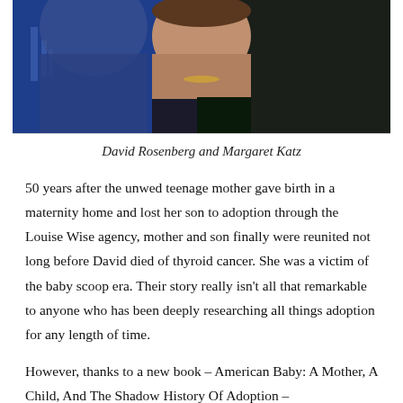[Figure (photo): Photo of David Rosenberg and Margaret Katz, two people shown from roughly neck/shoulder up, one against a blue background, one against a dark background.]
David Rosenberg and Margaret Katz
50 years after the unwed teenage mother gave birth in a maternity home and lost her son to adoption through the Louise Wise agency, mother and son finally were reunited not long before David died of thyroid cancer. She was a victim of the baby scoop era. Their story really isn't all that remarkable to anyone who has been deeply researching all things adoption for any length of time.
However, thanks to a new book – American Baby: A Mother, A Child, And The Shadow History Of Adoption –